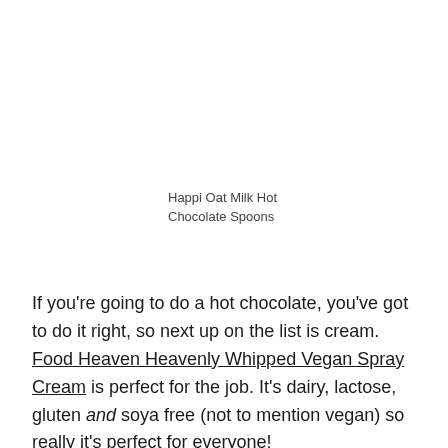Happi Oat Milk Hot Chocolate Spoons
If you're going to do a hot chocolate, you've got to do it right, so next up on the list is cream. Food Heaven Heavenly Whipped Vegan Spray Cream is perfect for the job. It's dairy, lactose, gluten and soya free (not to mention vegan) so really it's perfect for everyone!